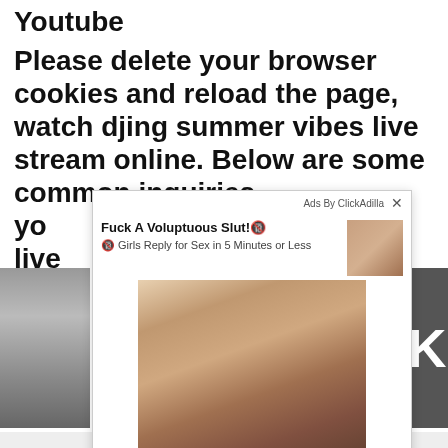Youtube
Please delete your browser cookies and reload the page, watch djing summer vibes live stream online. Below are some common inquiries yo... live... nt he...
[Figure (screenshot): An intrusive ad popup overlay from ClickAdilla appearing over a webpage. The popup contains adult ad content with title text and a thumbnail image, plus a larger image below. Behind the popup are visible page elements including a background image on the left and a dark panel with a letter K on the right.]